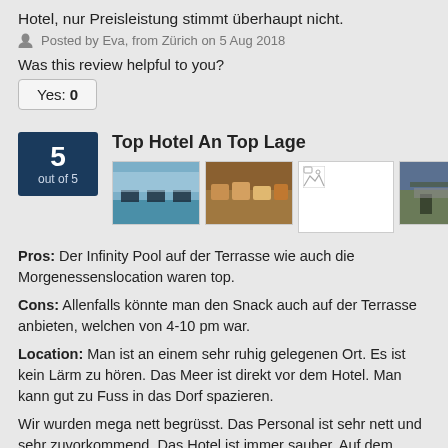Hotel, nur Preisleistung stimmt überhaupt nicht.
Posted by Eva, from Zürich on 5 Aug 2018
Was this review helpful to you?
Yes: 0
Top Hotel An Top Lage
[Figure (photo): Four thumbnail photos of the hotel including pool, buffet, broken image, and outdoor seating area]
Pros: Der Infinity Pool auf der Terrasse wie auch die Morgenessenslocation waren top.
Cons: Allenfalls könnte man den Snack auch auf der Terrasse anbieten, welchen von 4-10 pm war.
Location: Man ist an einem sehr ruhig gelegenen Ort. Es ist kein Lärm zu hören. Das Meer ist direkt vor dem Hotel. Man kann gut zu Fuss in das Dorf spazieren.
Wir wurden mega nett begrüsst. Das Personal ist sehr nett und sehr zuvorkommend. Das Hotel ist immer sauber. Auf dem Dach hat es einen Infinitypool, welcher das Highlight ist. Morgenessen kann man im daneben gelegenen Restaurant welches ein sehr feines Buffet hat und die Aussicht